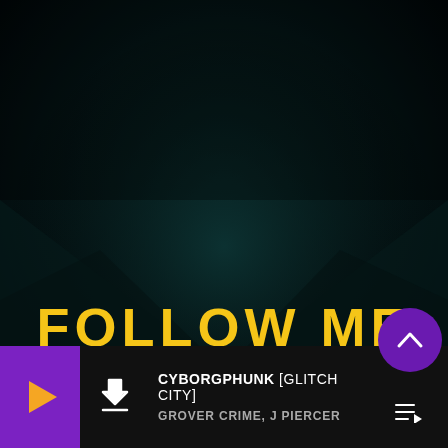[Figure (illustration): Dark cyberpunk background scene with deep teal/dark geometric shapes forming a V or envelope shape against a near-black background]
FOLLOW ME
CYBORGPHUNK [GLITCH CITY]
GROVER CRIME, J PIERCER